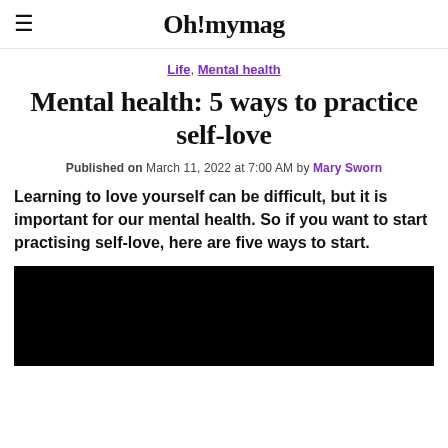Oh! mymag
Life, Mental health
Mental health: 5 ways to practice self-love
Published on March 11, 2022 at 7:00 AM by Mary Sworn
Learning to love yourself can be difficult, but it is important for our mental health. So if you want to start practising self-love, here are five ways to start.
[Figure (photo): Black image placeholder for article photo]